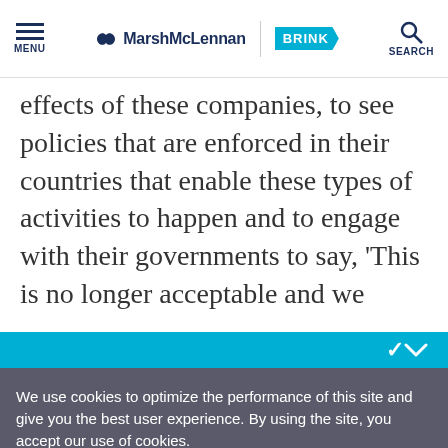MENU | MarshMcLennan BRINK | SEARCH
effects of these companies, to see policies that are enforced in their countries that enable these types of activities to happen and to engage with their governments to say, 'This is no longer acceptable and we
We use cookies to optimize the performance of this site and give you the best user experience. By using the site, you accept our use of cookies.
Okay
Manage Cookies